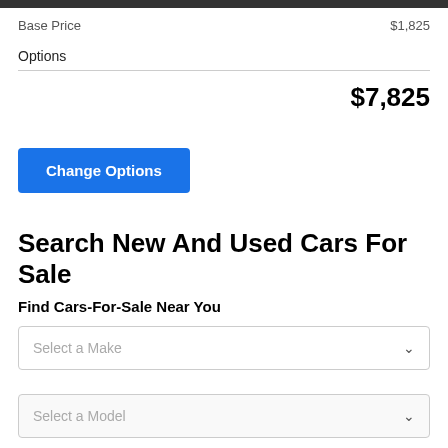Base Price  $1,825
Options
$7,825
Change Options
Search New And Used Cars For Sale
Find Cars-For-Sale Near You
Select a Make
Select a Model